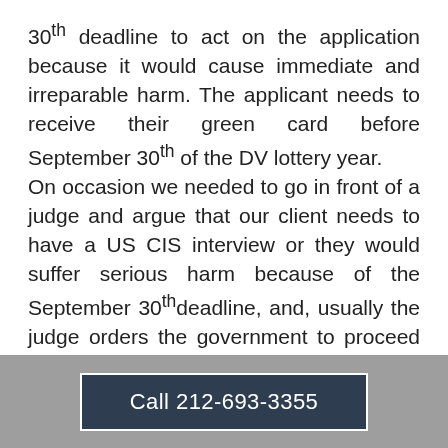30th deadline to act on the application because it would cause immediate and irreparable harm. The applicant needs to receive their green card before September 30th of the DV lottery year.
On occasion we needed to go in front of a judge and argue that our client needs to have a US CIS interview or they would suffer serious harm because of the September 30th deadline, and, usually the judge orders the government to proceed with the I – 485 (application for permanent residence/green card) interview.
We can sue the USCIS because there will be an irreparable harm to the lottery winner if the
Call 212-693-3355